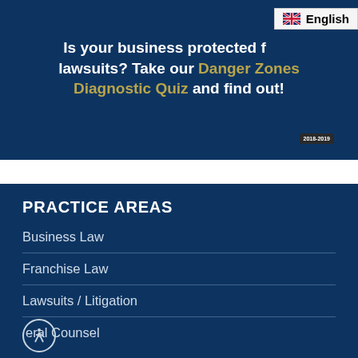Is your business protected from lawsuits? Take our Danger Zones Diagnostic Quiz and find out!
[Figure (other): Language selector bar showing English with flag icon in top right corner]
[Figure (other): Small dark badge with text '2018-2019']
PRACTICE AREAS
Business Law
Franchise Law
Lawsuits / Litigation
General Counsel